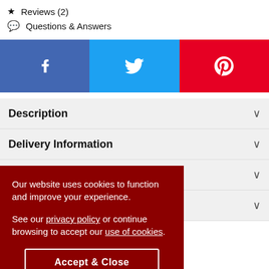★  Reviews (2)
💬  Questions & Answers
[Figure (infographic): Social sharing buttons: Facebook (blue), Twitter (light blue), Pinterest (red) with respective icons]
Description
Delivery Information
★★ (star rating section)
(collapsed section)
ct Also Viewed
Our website uses cookies to function and improve your experience.

See our privacy policy or continue browsing to accept our use of cookies.
Accept & Close